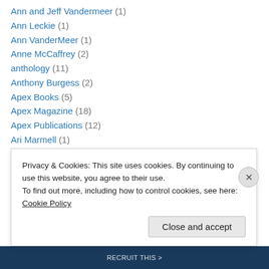Ann and Jeff Vandermeer (1)
Ann Leckie (1)
Ann VanderMeer (1)
Anne McCaffrey (2)
anthology (11)
Anthony Burgess (2)
Apex Books (5)
Apex Magazine (18)
Apex Publications (12)
Ari Marmell (1)
Art Spiegelman (1)
Arthur Byron Cover (1)
Arthur C Clarke (2)
Privacy & Cookies: This site uses cookies. By continuing to use this website, you agree to their use. To find out more, including how to control cookies, see here: Cookie Policy
Close and accept